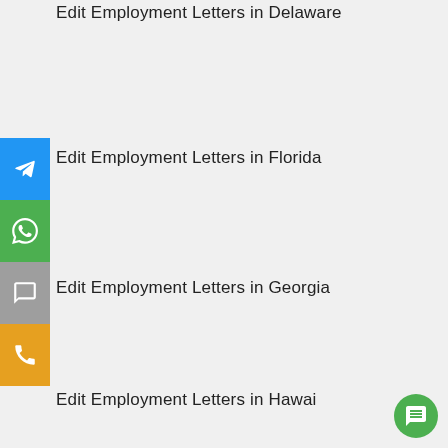Edit Employment Letters in Delaware
Edit Employment Letters in Florida
Edit Employment Letters in Georgia
Edit Employment Letters in Hawaii